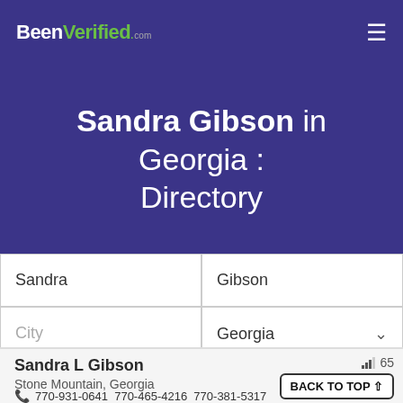[Figure (logo): BeenVerified.com logo in white and green text with hamburger menu icon]
Sandra Gibson in Georgia : Directory
Sandra | Gibson
City | Georgia ∨
SEARCH
Sandra L Gibson
Stone Mountain, Georgia
BACK TO TOP ↑
770-931-0641 770-465-4216 770-381-5317